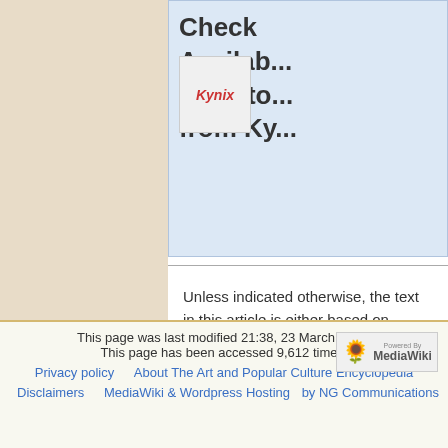[Figure (other): Kynix advertisement box with logo and text: Check Availability Inventory from Ky...]
Unless indicated otherwise, the text in this article is either based on Wikipedia article "Inferno (Dante)" or another language Wikipedia page thereof used under the terms of the GNU Free Documentation License; or on research by Jahsonic and friends. See Art and Popular Culture's copyright notice.
This page was last modified 21:38, 23 March 2021. This page has been accessed 9,612 times. Privacy policy  About The Art and Popular Culture Encyclopedia  Disclaimers  MediaWiki & Wordpress Hosting by NG Communications